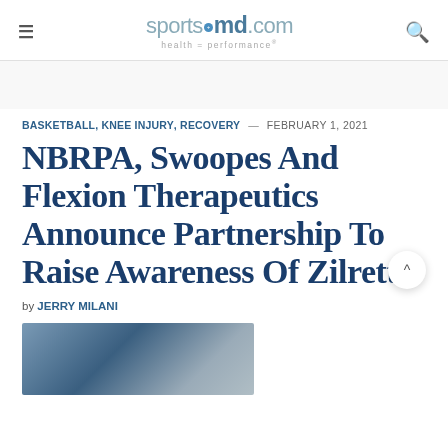sportsmd.com health = performance
BASKETBALL, KNEE INJURY, RECOVERY — FEBRUARY 1, 2021
NBRPA, Swoopes And Flexion Therapeutics Announce Partnership To Raise Awareness Of Zilretta
by JERRY MILANI
[Figure (photo): Article photo partially visible at bottom of page]